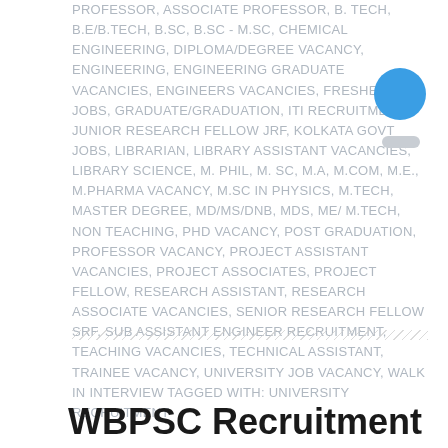PROFESSOR, ASSOCIATE PROFESSOR, B. TECH, B.E/B.TECH, B.SC, B.SC - M.SC, CHEMICAL ENGINEERING, DIPLOMA/DEGREE VACANCY, ENGINEERING, ENGINEERING GRADUATE VACANCIES, ENGINEERS VACANCIES, FRESHERS JOBS, GRADUATE/GRADUATION, ITI RECRUITMENT, JUNIOR RESEARCH FELLOW JRF, KOLKATA GOVT JOBS, LIBRARIAN, LIBRARY ASSISTANT VACANCIES, LIBRARY SCIENCE, M. PHIL, M. SC, M.A, M.COM, M.E., M.PHARMA VACANCY, M.SC IN PHYSICS, M.TECH, MASTER DEGREE, MD/MS/DNB, MDS, ME/ M.TECH, NON TEACHING, PHD VACANCY, POST GRADUATION, PROFESSOR VACANCY, PROJECT ASSISTANT VACANCIES, PROJECT ASSOCIATES, PROJECT FELLOW, RESEARCH ASSISTANT, RESEARCH ASSOCIATE VACANCIES, SENIOR RESEARCH FELLOW SRF, SUB ASSISTANT ENGINEER RECRUITMENT, TEACHING VACANCIES, TECHNICAL ASSISTANT, TRAINEE VACANCY, UNIVERSITY JOB VACANCY, WALK IN INTERVIEW TAGGED WITH: UNIVERSITY RECRUITMENT
[Figure (illustration): Blue circle icon and grey pill shape on right side]
WBPSC Recruitment